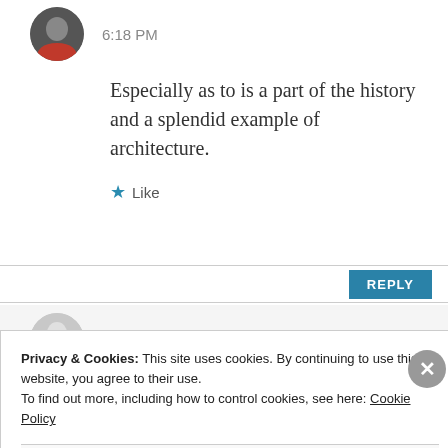[Figure (photo): Circular avatar photo of a person wearing a red top, partially visible, dark background]
6:18 PM
Especially as to is a part of the history and a splendid example of architecture.
★ Like
REPLY
[Figure (photo): Circular avatar with a light-colored image]
Indah Susanti
Privacy & Cookies: This site uses cookies. By continuing to use this website, you agree to their use.
To find out more, including how to control cookies, see here: Cookie Policy
Close and accept